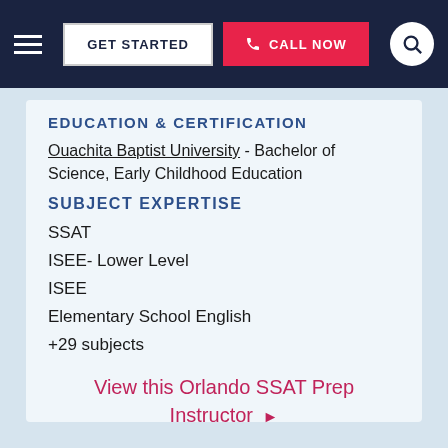GET STARTED | CALL NOW
EDUCATION & CERTIFICATION
Ouachita Baptist University - Bachelor of Science, Early Childhood Education
SUBJECT EXPERTISE
SSAT
ISEE- Lower Level
ISEE
Elementary School English
+29 subjects
View this Orlando SSAT Prep Instructor ▶